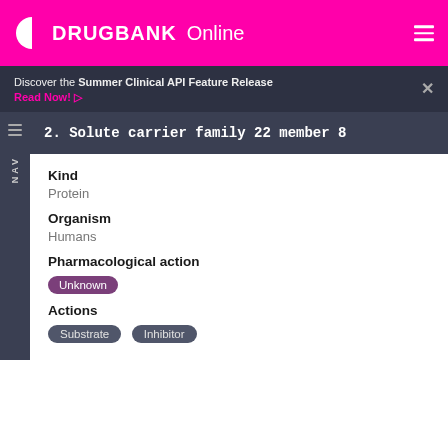DRUGBANK Online
Discover the Summer Clinical API Feature Release
Read Now!
2. Solute carrier family 22 member 8
Kind
Protein
Organism
Humans
Pharmacological action
Unknown
Actions
Substrate  Inhibitor